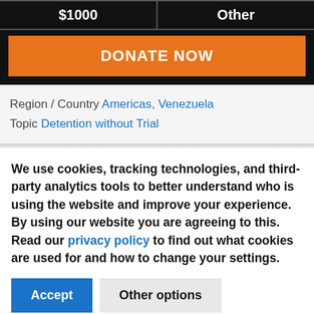[Figure (screenshot): Donation widget with amount row showing $1000 and Other, and an orange DONATE NOW button on black background]
Region / Country Americas, Venezuela
Topic Detention without Trial
We use cookies, tracking technologies, and third-party analytics tools to better understand who is using the website and improve your experience. By using our website you are agreeing to this. Read our privacy policy to find out what cookies are used for and how to change your settings.
Accept
Other options